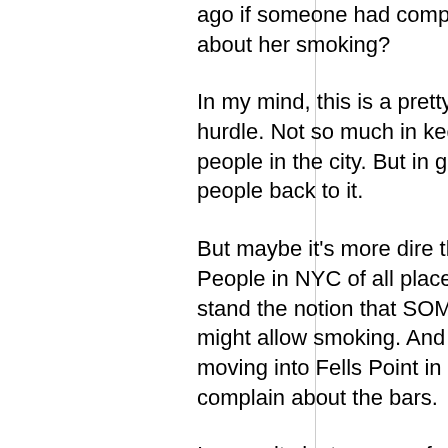ago if someone had complained about her smoking?
In my mind, this is a pretty serious hurdle. Not so much in keeping people in the city. But in getting people back to it.
But maybe it's more dire than I think. People in NYC of all places just can't stand the notion that SOME bars might allow smoking. And people moving into Fells Point in Baltimore complain about the bars.
I guess its just a case of people, as always, wanting the best of all worlds. They want hip city living. But they want to...